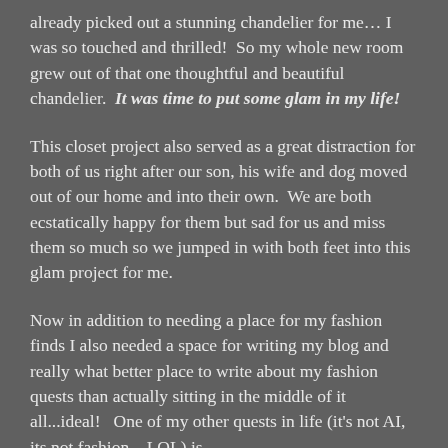already picked out a stunning chandelier for me… I was so touched and thrilled!  So my whole new room grew out of that one thoughtful and beautiful chandelier.  It was time to put some glam in my life!
This closet project also served as a great distraction for both of us right after our son, his wife and dog moved out of our home and into their own.  We are both ecstatically happy for them but sad for us and miss them so much so we jumped in with both feet into this glam project for me.
Now in addition to needing a place for my fashion finds I also needed a space for writing my blog and really what better place to write about my fashion quests than actually sitting in the middle of it all...ideal!   One of my other quests in life (it's not AI, its not fashion…LOL) is